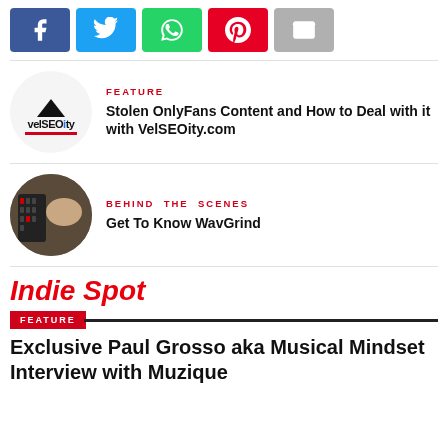[Figure (infographic): Social share buttons: Facebook (blue), Twitter (light blue), WhatsApp (green), Pinterest (red), Email (gray)]
[Figure (logo): VelSEOity logo in a circle]
FEATURE
Stolen OnlyFans Content and How to Deal with it with VelSEOity.com
[Figure (photo): Person working at music production equipment, circular crop]
BEHIND THE SCENES
Get To Know WavGrind
Indie Spot
FEATURE
Exclusive Paul Grosso aka Musical Mindset Interview with Muzique